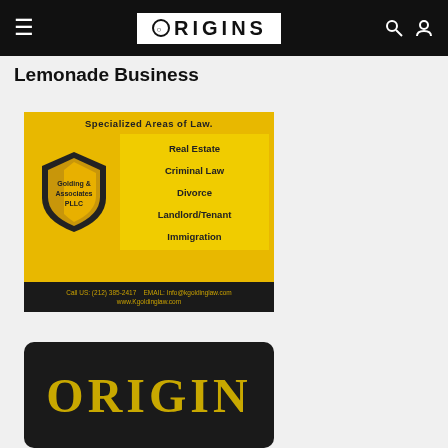ORIGINS (navigation bar with logo, hamburger menu, search and user icons)
Lemonade Business
[Figure (advertisement): Golding & Associates PLLC law firm advertisement on yellow background. Shows shield logo with firm name, Specialized Areas of Law including Real Estate, Criminal Law, Divorce, Landlord/Tenant, Immigration. Contact: Call US: (212) 385-2417, EMAIL: Info@kgoldinglaw.com, www.Kgoldinglaw.com]
[Figure (logo): Origins magazine/publication logo in yellow text on black rounded rectangle background, partially cropped at bottom of page]